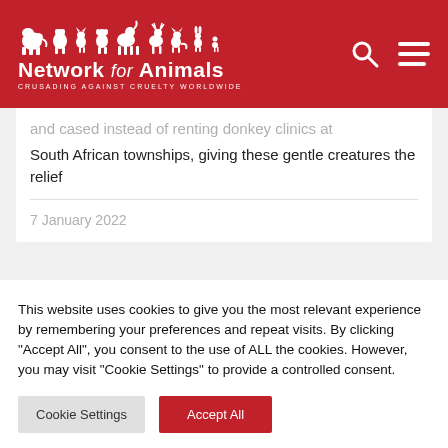[Figure (logo): Network for Animals logo — white animal silhouettes (elephant, bear, cat, snake, dog, horse, deer, fox, rabbit) above bold white text 'Network for Animals' with italic 'for', and tagline 'CRUSADING AGAINST CRUELTY WORLDWIDE', on red background with search and hamburger menu icons]
and cased instead of renting donkey clinics at South African townships, giving these gentle creatures the relief
7 January 2022
This website uses cookies to give you the most relevant experience by remembering your preferences and repeat visits. By clicking "Accept All", you consent to the use of ALL the cookies. However, you may visit "Cookie Settings" to provide a controlled consent.